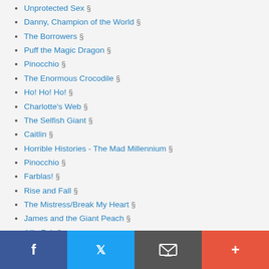Unprotected Sex §
Danny, Champion of the World §
The Borrowers §
Puff the Magic Dragon §
Pinocchio §
The Enormous Crocodile §
Ho! Ho! Ho! §
Charlotte's Web §
The Selfish Giant §
Caitlin §
Horrible Histories - The Mad Millennium §
Pinocchio §
Farblas! §
Rise and Fall §
The Mistress/Break My Heart §
James and the Giant Peach §
All's Fair §
The Shadow of a Boy §
Sherman Theatre Company and HTV